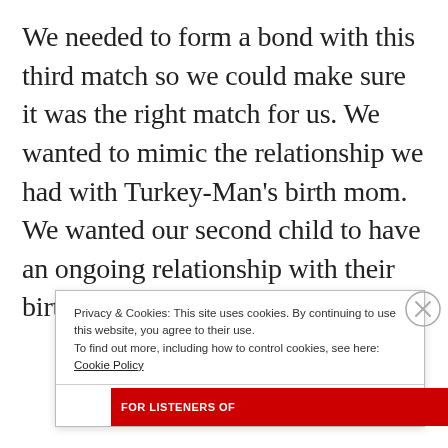We needed to form a bond with this third match so we could make sure it was the right match for us. We wanted to mimic the relationship we had with Turkey-Man's birth mom. We wanted our second child to have an ongoing relationship with their birth family like h...
Privacy & Cookies: This site uses cookies. By continuing to use this website, you agree to their use. To find out more, including how to control cookies, see here: Cookie Policy
Close and accept